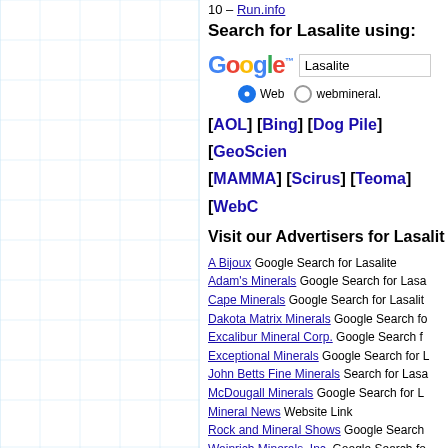10 – Run.info
Search for Lasalite using:
[Figure (screenshot): Google search box with 'Lasalite' entered, radio buttons for Web and webmineral]
[AOL] [Bing] [Dog Pile] [GeoScience] [MAMMA] [Scirus] [Teoma] [WebCrawler]
Visit our Advertisers for Lasalite
A Bijoux Google Search for Lasalite
Adam's Minerals Google Search for Lasalite
Cape Minerals Google Search for Lasalite
Dakota Matrix Minerals Google Search for Lasalite
Excalibur Mineral Corp. Google Search for Lasalite
Exceptional Minerals Google Search for Lasalite
John Betts Fine Minerals Search for Lasalite
McDougall Minerals Google Search for Lasalite
Mineral News Website Link
Rock and Mineral Shows Google Search
Weinrich Minerals, Inc. Google Search for Lasalite
Ask about Lasalite here :
Ask-A-Mineralogist from the Mineralogical Society of America